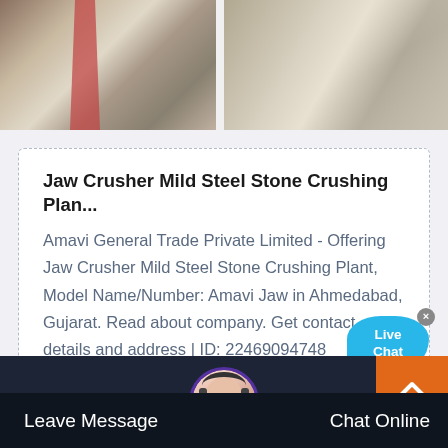[Figure (photo): Two side-by-side photos of a stone crushing plant / quarry site with machinery and gravel piles]
Jaw Crusher Mild Steel Stone Crushing Plan...
Amavi General Trade Private Limited - Offering Jaw Crusher Mild Steel Stone Crushing Plant, Model Name/Number: Amavi Jaw in Ahmedabad, Gujarat. Read about company. Get contact details and address | ID: 22469094748
[Figure (other): Live Chat button bubble in blue]
[Figure (other): Orange scroll-to-top button with chevron icon]
[Figure (photo): Customer service agent avatar photo in circular frame]
Leave Message
Chat Online